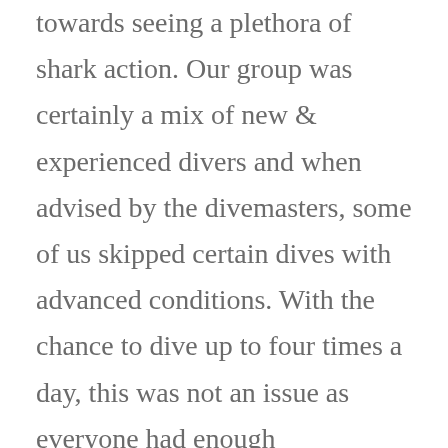towards seeing a plethora of shark action. Our group was certainly a mix of new & experienced divers and when advised by the divemasters, some of us skipped certain dives with advanced conditions. With the chance to dive up to four times a day, this was not an issue as everyone had enough opportunities to “get their fix” throughout our 10-day voyage. When looking to book your own Maldivian adventure be aware that